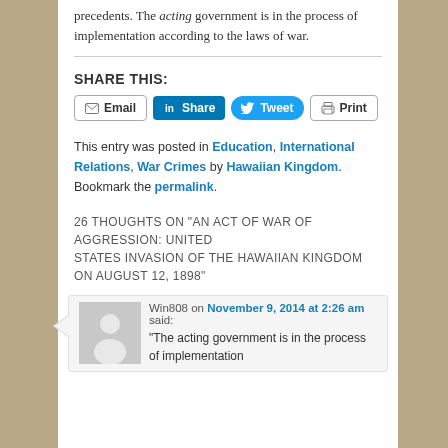precedents. The acting government is in the process of implementation according to the laws of war.
SHARE THIS:
[Figure (other): Social share buttons: Email, LinkedIn Share, Twitter Tweet, Print]
This entry was posted in Education, International Relations, War Crimes by Hawaiian Kingdom. Bookmark the permalink.
26 THOUGHTS ON "AN ACT OF WAR OF AGGRESSION: UNITED STATES INVASION OF THE HAWAIIAN KINGDOM ON AUGUST 12, 1898"
Win808 on November 9, 2014 at 2:26 am said: "The acting government is in the process of implementation